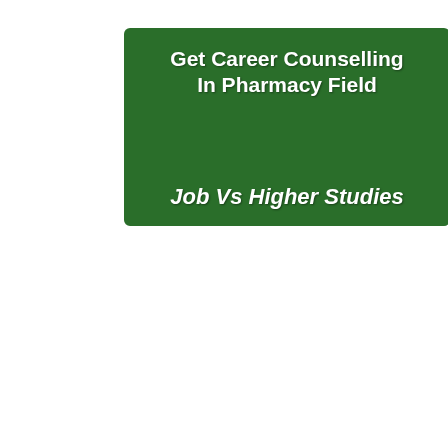[Figure (screenshot): Green banner with white bold text: 'Get Career Counselling In Pharmacy Field' and 'Job Vs Higher Studies']
[Figure (screenshot): Video player screenshot showing pharmacy career counselling video with a popup overlay containing two columns: left column 'Free Video Lectures of Pharmacy Exams Apply now' and right column 'M.Pharm Non GPAT Admission 2021 Apply now GPAT 2022 Toppers Scholarship Apply now'. Video controls show 00:00 timestamp and 52:56 total duration.]